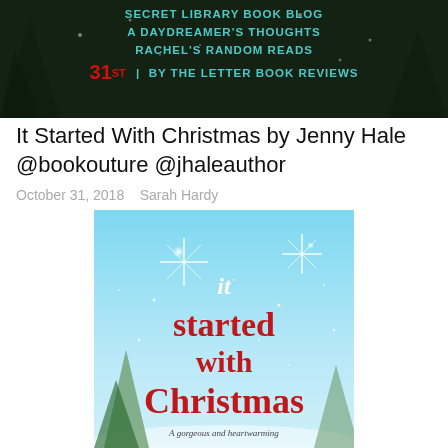[Figure (illustration): Blog tour banner with winter snowy background. Text in teal uppercase letters: SECRET LIBRARY BOOK BLOG, A DAYDREAMER'S THOUGHTS, RACHEL'S RANDOM READS. Below in red and teal: 31ST | BY THE LETTER BOOK REVIEWS]
It Started With Christmas by Jenny Hale @bookouture @jhaleauthor
October 31, 2018   Sarah Hardy
[Figure (illustration): Book cover for 'It Started With Christmas' by Jenny Hale. Light blue sky background with snow and sparkling stars. Title text in white 'it' at top, then large red serif text 'started with Christmas'. Subtitle at bottom: 'A gorgeous and heartwarming'.]